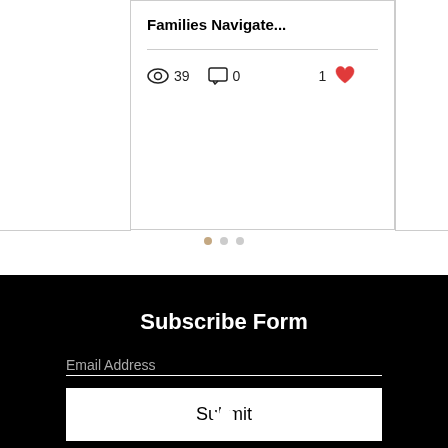Families Navigate...
39  0  1
[Figure (other): Pagination dots: three dots indicating carousel position]
Subscribe Form
Email Address
Submit
[Figure (other): Social media icons: Facebook, Twitter, YouTube in white on black background]